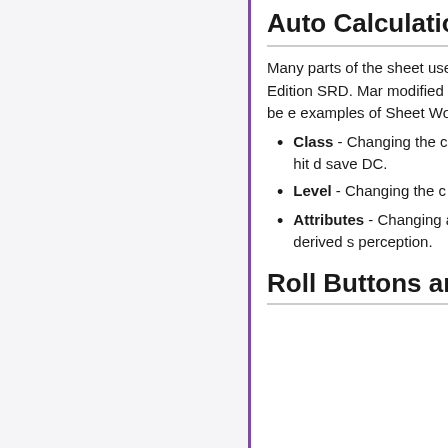Auto Calculations
Many parts of the sheet use attributes with the expectation in the 5th Edition SRD. Many modified from the character by Sheet Workers can be e examples of Sheet Worker
Class - Changing the c automatically update th proficiencies, their hit d save DC.
Level - Changing the c proficiency bonus, num
Attributes - Changing also update the related attribute, and derived s perception.
Roll Buttons and Ro